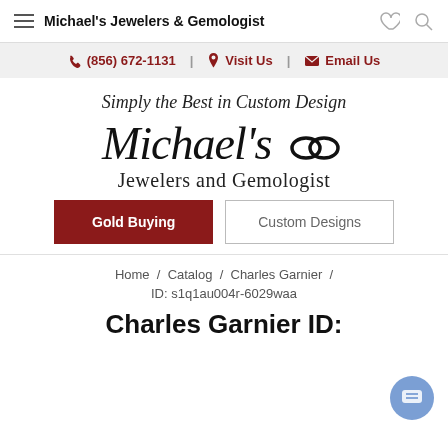Michael's Jewelers & Gemologist
(856) 672-1131 | Visit Us | Email Us
Simply the Best in Custom Design
[Figure (logo): Michael's Jewelers and Gemologist script logo with linked rings symbol]
Gold Buying | Custom Designs
Home / Catalog / Charles Garnier /
ID: s1q1au004r-6029waa
Charles Garnier ID: